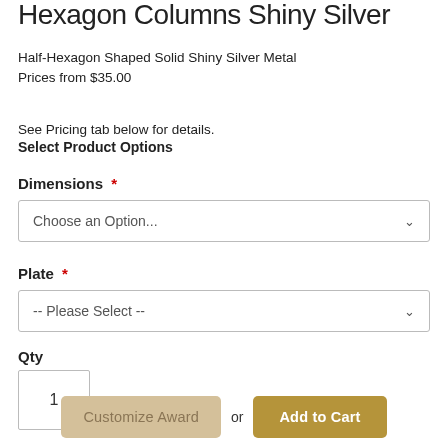Hexagon Columns Shiny Silver
Half-Hexagon Shaped Solid Shiny Silver Metal
Prices from $35.00
See Pricing tab below for details.
Select Product Options
Dimensions *
Choose an Option...
Plate *
-- Please Select --
Qty
1
Customize Award or Add to Cart